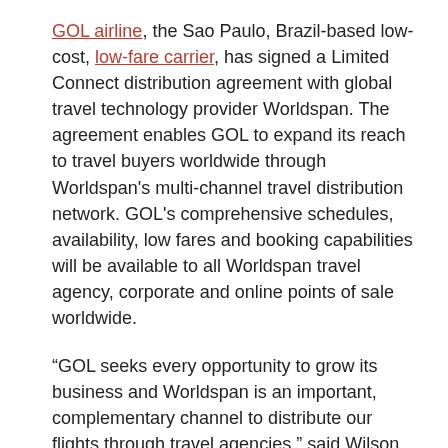GOL airline, the Sao Paulo, Brazil-based low-cost, low-fare carrier, has signed a Limited Connect distribution agreement with global travel technology provider Worldspan. The agreement enables GOL to expand its reach to travel buyers worldwide through Worldspan's multi-channel travel distribution network. GOL's comprehensive schedules, availability, low fares and booking capabilities will be available to all Worldspan travel agency, corporate and online points of sale worldwide.
“GOL seeks every opportunity to grow its business and Worldspan is an important, complementary channel to distribute our flights through travel agencies,” said Wilson Maciel Ramos, vice president of Planning and Information Technology for GOL. “Worldspan is a valued distribution partner that supports our mission to provide travel buyers convenient, accurate and reliable access to our flights and low fares, and the most efficient booking capabilities.”